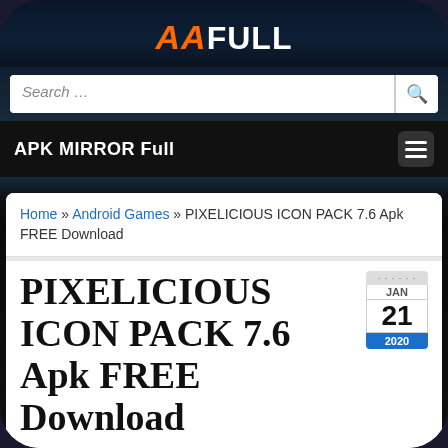[Figure (screenshot): AAFULL website logo at top of phone frame]
APK MIRROR Full
Home » Android Games » PIXELICIOUS ICON PACK 7.6 Apk FREE Download
PIXELICIOUS ICON PACK 7.6 Apk FREE Download
Posted by:Apkmirrorfull .Net